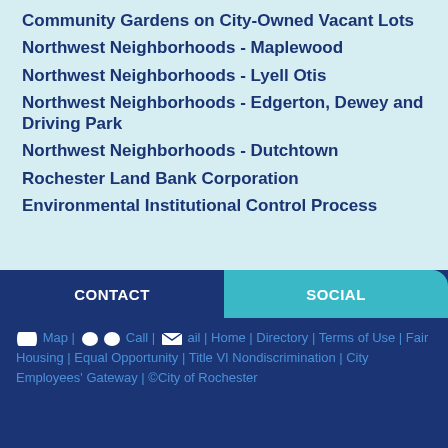Community Gardens on City-Owned Vacant Lots
Northwest Neighborhoods - Maplewood
Northwest Neighborhoods - Lyell Otis
Northwest Neighborhoods - Edgerton, Dewey and Driving Park
Northwest Neighborhoods - Dutchtown
Rochester Land Bank Corporation
Environmental Institutional Control Process
CONTACT | SOCIAL | Map | Call | Mail | Home | Directory | Terms of Use | Fair Housing | Equal Opportunity | Title VI Nondiscrimination | City Employees' Gateway | ©City of Rochester